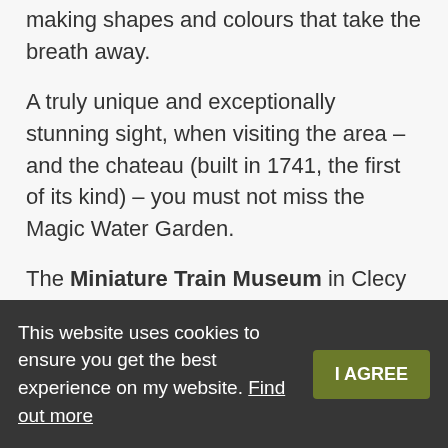making shapes and colours that take the breath away.
A truly unique and exceptionally stunning sight, when visiting the area – and the chateau (built in 1741, the first of its kind) – you must not miss the Magic Water Garden.
The Miniature Train Museum in Clecy has more than 450 metres of track, 250 tiny trains, 650 miniature houses (all lit with electric lights), and is a great day out for train enthusiasts and more about this most fascinating
This website uses cookies to ensure you get the best experience on my website. Find out more  I AGREE